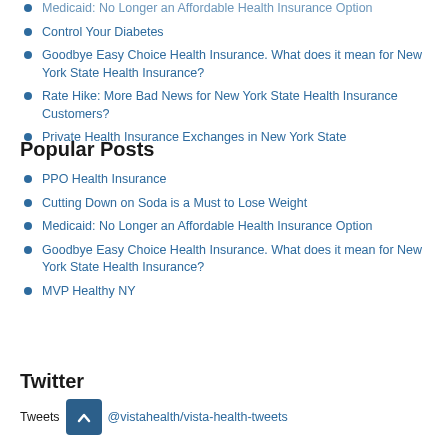Medicaid: No Longer an Affordable Health Insurance Option
Control Your Diabetes
Goodbye Easy Choice Health Insurance. What does it mean for New York State Health Insurance?
Rate Hike: More Bad News for New York State Health Insurance Customers?
Private Health Insurance Exchanges in New York State
Popular Posts
PPO Health Insurance
Cutting Down on Soda is a Must to Lose Weight
Medicaid: No Longer an Affordable Health Insurance Option
Goodbye Easy Choice Health Insurance. What does it mean for New York State Health Insurance?
MVP Healthy NY
Twitter
Tweets by @vistahealth/vista-health-tweets